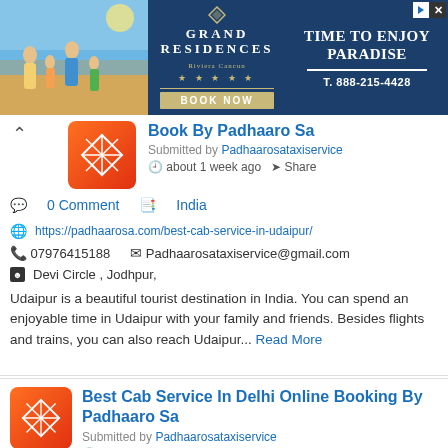[Figure (screenshot): Advertisement banner for Grand Residences showing beach family photo, Grand Residences Riviera Cancun logo with stars, BOOK NOW button in tan/gold, TIME TO ENJOY PARADISE text, and phone T. 888-215-4428]
Book By Padhaaro Sa
Submitted by Padhaarosataxiservice
about 1 week ago  Share
0 Comment   India
https://padhaarosa.com/best-cab-service-in-udaipur/
07976415188   Padhaarosataxiservice@gmail.com
Devi Circle , Jodhpur,
Udaipur is a beautiful tourist destination in India. You can spend an enjoyable time in Udaipur with your family and friends. Besides flights and trains, you can also reach Udaipur... Read More
Best Cab Service In Delhi Online Booking By Padhaaro Sa
Submitted by Padhaarosataxiservice
about 1 week ago  Share
0 Comment   India